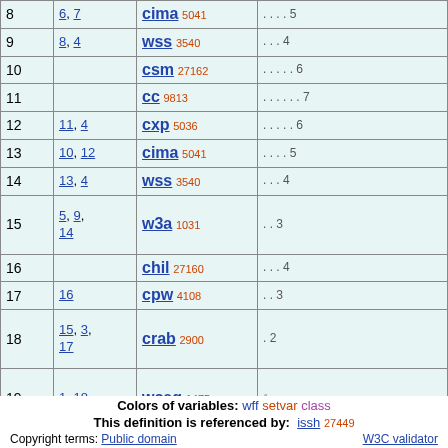| # | Refs | Name | Dots |
| --- | --- | --- | --- |
| 8 | 6, 7 | cima 5041 | . . . . 5 |
| 9 | 8, 4 | wss 3540 | . . . 4 |
| 10 |  | csm 27162 | . . . . . 6 |
| 11 |  | cc 9813 | . . . . . . 7 |
| 12 | 11, 4 | cxp 5036 | . . . . . 6 |
| 13 | 10, 12 | cima 5041 | . . . . 5 |
| 14 | 13, 4 | wss 3540 | . . . 4 |
| 15 | 5, 9, 14 | w3a 1031 | . . 3 |
| 16 |  | chil 27160 | . . . 4 |
| 17 | 16 | cpw 4108 | . . 3 |
| 18 | 15, 3, 17 | crab 2900 | . 2 |
| 19 | 1, 18 | wceq 1475 | 1 |
Colors of variables: wff setvar class
This definition is referenced by: issh 27449
Copyright terms: Public domain   W3C validator